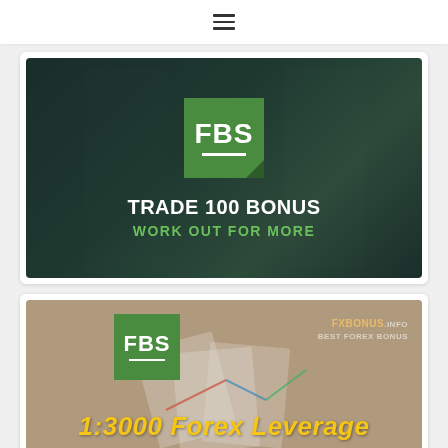≡
[Figure (illustration): FBS broker banner with dark green background, FBS logo in green square, text 'TRADE 100 BONUS' in white bold and 'WORK OUT FOR MORE' in green]
[Figure (illustration): FBS broker banner showing FBS green logo, watermark 'FXBONUS.INFO BEST FOREX BONUS', and text '1:3000 Forex Leverage' in gold italic font over a photo of hands with pen and charts]